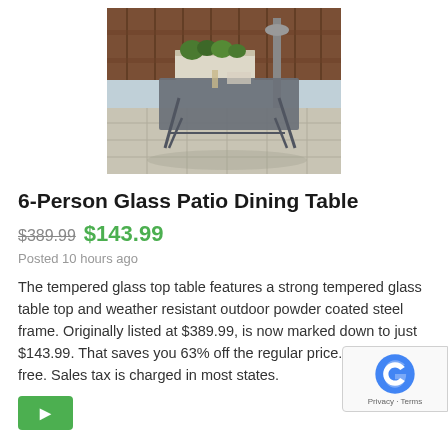[Figure (photo): Photo of a 6-person glass patio dining table with metal frame in an outdoor setting with wood fence and plants in background]
6-Person Glass Patio Dining Table
$389.99  $143.99
Posted 10 hours ago
The tempered glass top table features a strong tempered glass table top and weather resistant outdoor powder coated steel frame. Originally listed at $389.99, is now marked down to just $143.99. That saves you 63% off the regular price. Shipping is free. Sales tax is charged in most states.